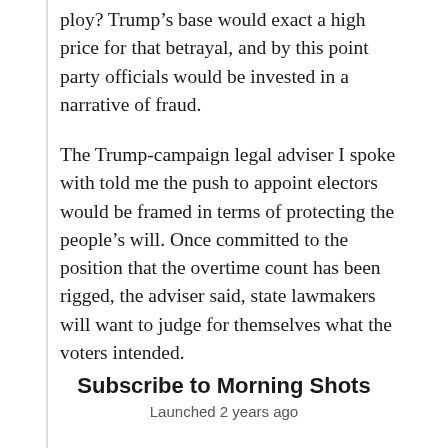ploy? Trump's base would exact a high price for that betrayal, and by this point party officials would be invested in a narrative of fraud.
The Trump-campaign legal adviser I spoke with told me the push to appoint electors would be framed in terms of protecting the people's will. Once committed to the position that the overtime count has been rigged, the adviser said, state lawmakers will want to judge for themselves what the voters intended.
Subscribe to Morning Shots
Launched 2 years ago